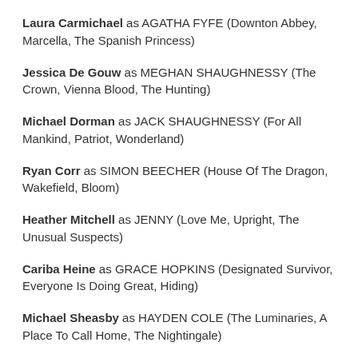Laura Carmichael as AGATHA FYFE (Downton Abbey, Marcella, The Spanish Princess)
Jessica De Gouw as MEGHAN SHAUGHNESSY (The Crown, Vienna Blood, The Hunting)
Michael Dorman as JACK SHAUGHNESSY (For All Mankind, Patriot, Wonderland)
Ryan Corr as SIMON BEECHER (House Of The Dragon, Wakefield, Bloom)
Heather Mitchell as JENNY (Love Me, Upright, The Unusual Suspects)
Cariba Heine as GRACE HOPKINS (Designated Survivor, Everyone Is Doing Great, Hiding)
Michael Sheasby as HAYDEN COLE (The Luminaries, A Place To Call Home, The Nightingale)